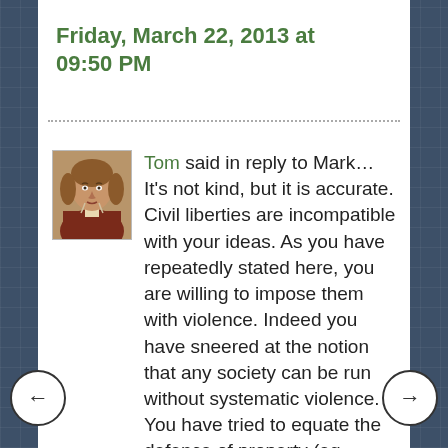Friday, March 22, 2013 at 09:50 PM
Tom said in reply to Mark… It's not kind, but it is accurate. Civil liberties are incompatible with your ideas. As you have repeatedly stated here, you are willing to impose them with violence. Indeed you have sneered at the notion that any society can be run without systematic violence. You have tried to equate the defence of property (eg Apple's